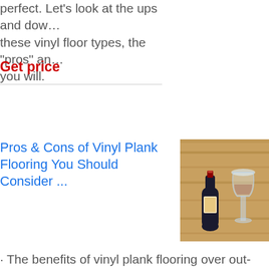perfect. Let's look at the ups and downs of these vinyl floor types, the "pros" and cons you will.
Get price
Pros & Cons of Vinyl Plank Flooring You Should Consider ...
[Figure (photo): A wine bottle lying on its side with a wine glass on a wooden floor surface]
· The benefits of vinyl plank flooring over out-dated peel-and-stick tile is a much-improved, thicker wear layer, water-resistant core, and engineered design that allows for quick professional installation and it is a superior in...